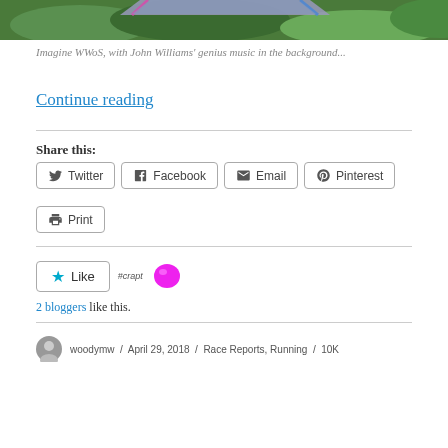[Figure (photo): Partial view of an outdoor photo showing green foliage and a colorful chair or table top, cropped at the top of the page]
Imagine WWoS, with John Williams' genius music in the background...
Continue reading
Share this:
Twitter Facebook Email Pinterest Print
Like
2 bloggers like this.
woodymw / April 29, 2018 / Race Reports, Running / 10K